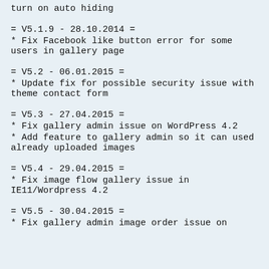turn on auto hiding
= V5.1.9 - 28.10.2014 =
* Fix Facebook like button error for some users in gallery page
= V5.2 - 06.01.2015 =
* Update fix for possible security issue with theme contact form
= V5.3 - 27.04.2015 =
* Fix gallery admin issue on WordPress 4.2
* Add feature to gallery admin so it can used already uploaded images
= V5.4 - 29.04.2015 =
* Fix image flow gallery issue in IE11/Wordpress 4.2
= V5.5 - 30.04.2015 =
* Fix gallery admin image order issue on